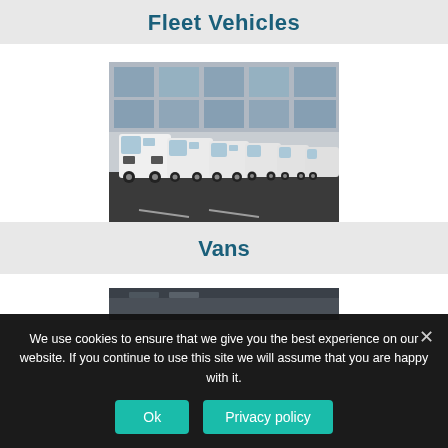Fleet Vehicles
[Figure (photo): A row of white delivery vans parked in front of a building with large glass windows]
Vans
[Figure (photo): Partial view of a second vehicle category image, partially obscured by cookie banner]
We use cookies to ensure that we give you the best experience on our website. If you continue to use this site we will assume that you are happy with it.
Ok
Privacy policy